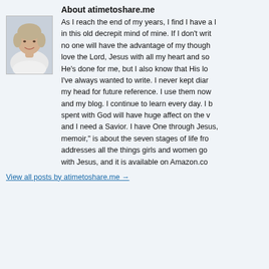About atimetoshare.me
[Figure (photo): Portrait photo of an older woman with short blonde/grey hair, smiling, wearing a white top]
As I reach the end of my years, I find I have a lot left in this old decrepit mind of mine. If I don't write it all down, no one will have the advantage of my thoughts. I love the Lord, Jesus with all my heart and soul. He's done for me, but I also know that His love. I've always wanted to write. I never kept diaries, my head for future reference. I use them now and my blog. I continue to learn every day. I be spent with God will have huge affect on the v and I need a Savior. I have One through Jesus, memoir," is about the seven stages of life fro addresses all the things girls and women go with Jesus, and it is available on Amazon.com
View all posts by atimetoshare.me →
Privacy & Cookies: This site uses cookies. By continuing to use this website, you agree to their use.
To find out more, including how to control cookies, see here: Cookie Policy
Close and accept